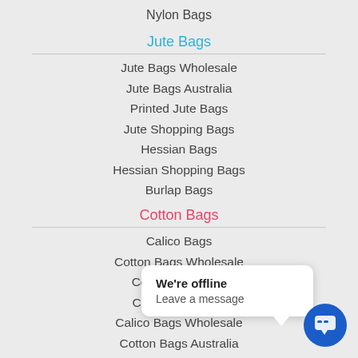Nylon Bags
Jute Bags
Jute Bags Wholesale
Jute Bags Australia
Printed Jute Bags
Jute Shopping Bags
Hessian Bags
Hessian Shopping Bags
Burlap Bags
Cotton Bags
Calico Bags
Cotton Bags Wholesale
Cotton Tote Bags
Calico Bags Bulk
Calico Bags Wholesale
Cotton Bags Australia
Calico Shopping Bags
We're offline
Leave a message
Canvas Tote Bags